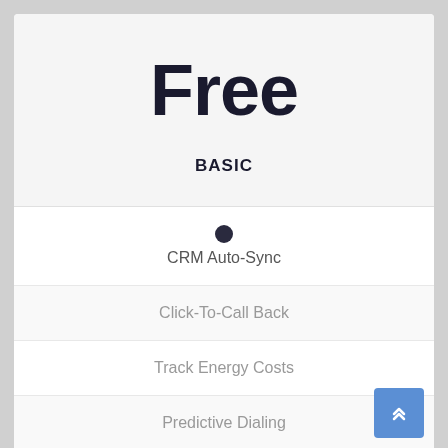Free
BASIC
CRM Auto-Sync
Click-To-Call Back
Track Energy Costs
Predictive Dialing
Speech Analytics